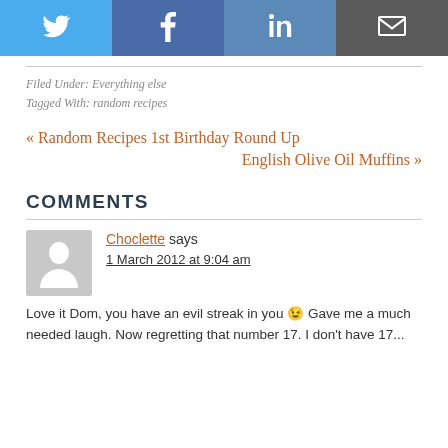[Figure (other): Social share buttons row: Twitter (blue bird icon), Facebook (blue F icon), LinkedIn (blue in icon), Email (grey envelope icon)]
Filed Under: Everything else
Tagged With: random recipes
« Random Recipes 1st Birthday Round Up
English Olive Oil Muffins »
COMMENTS
Choclette says
1 March 2012 at 9:04 am
Love it Dom, you have an evil streak in you 😉 Gave me a much needed laugh. Now regretting that number 17. I don't have 17...